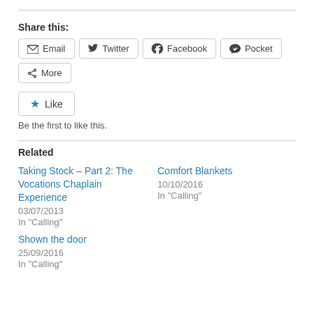Share this:
Email  Twitter  Facebook  Pocket  More
Like
Be the first to like this.
Related
Taking Stock – Part 2: The Vocations Chaplain Experience
03/07/2013
In "Calling"
Comfort Blankets
10/10/2016
In "Calling"
Shown the door
25/09/2016
In "Calling"